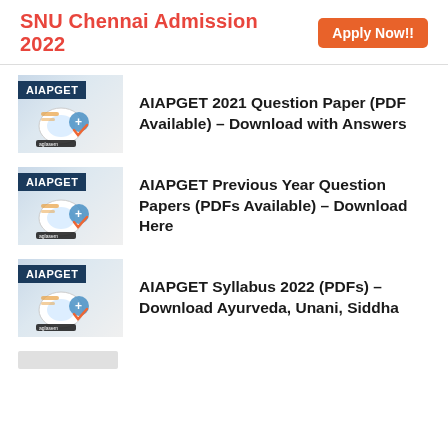SNU Chennai Admission 2022  Apply Now!!
AIAPGET 2021 Question Paper (PDF Available) – Download with Answers
AIAPGET Previous Year Question Papers (PDFs Available) – Download Here
AIAPGET Syllabus 2022 (PDFs) – Download Ayurveda, Unani, Siddha